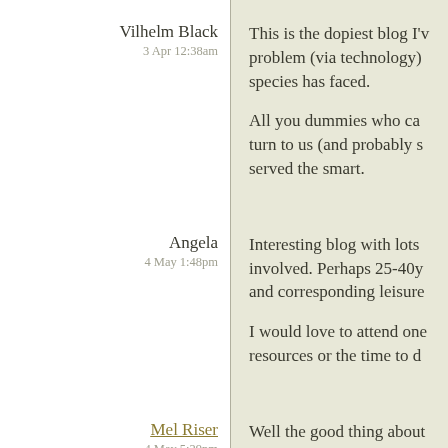Vilhelm Black
3 Apr 12:38am
This is the dopiest blog I'[ve ever read. Every problem (via technology) our species has faced.

All you dummies who ca[n't] turn to us (and probably s[hould have] served the smart.
Angela
4 May 1:48pm
Interesting blog with lots [of people] involved. Perhaps 25-40y[ears old] and corresponding leisure[time].

I would love to attend one[...] resources or the time to d[o so].
Mel Riser
4 May 5:29pm
Well the good thing about [...]

any of the fat asses who c[...]